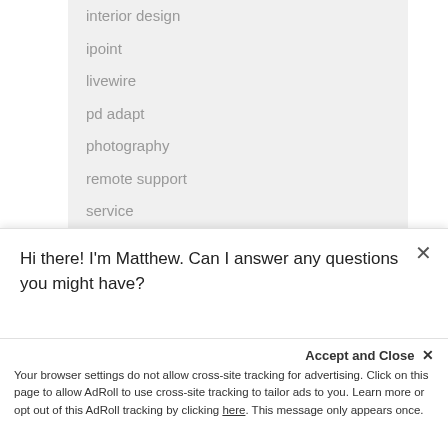interior design
ipoint
livewire
pd adapt
photography
remote support
service
social media strategies
software
sonnen
tv frames
tv template
Hi there! I'm Matthew. Can I answer any questions you might have?
Accept and Close ✕
Your browser settings do not allow cross-site tracking for advertising. Click on this page to allow AdRoll to use cross-site tracking to tailor ads to you. Learn more or opt out of this AdRoll tracking by clicking here. This message only appears once.